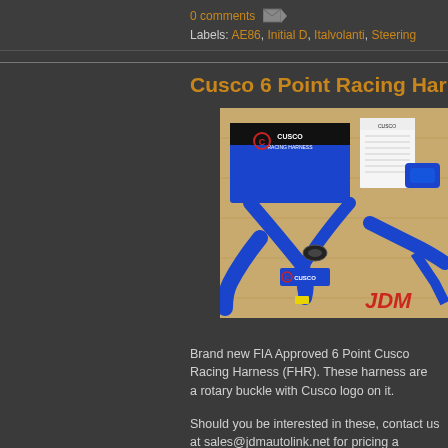0 comments
Labels: AE86, Initial D, Italvolanti, Steering
Cusco 6 Point Racing Harness (FHR)
[Figure (photo): Cusco Racing Harness product photo showing blue harness straps with rotary buckle, Cusco Racing Harness branded blue box, instruction manual, and JDM branding in the bottom right corner on a wooden surface.]
Brand new FIA Approved 6 Point Cusco Racing Harness (FHR). These harness are a rotary buckle with Cusco logo on it.
Should you be interested in these, contact us at sales@jdmautolink.net for pricing a